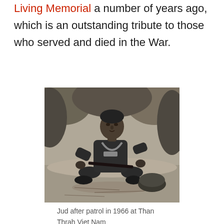Living Memorial a number of years ago, which is an outstanding tribute to those who served and died in the War.
[Figure (photo): Black and white photograph of a soldier (Jud) crouching after patrol in 1966 at Than Thrah Viet Nam, wearing military gear and holding a rifle, with tropical vegetation in the background.]
Jud after patrol in 1966 at Than Thrah Viet Nam